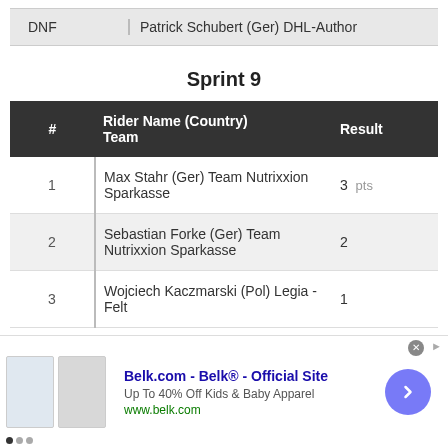| # | Rider Name (Country) Team | Result |
| --- | --- | --- |
| DNF | Patrick Schubert (Ger) DHL-Author |  |
Sprint 9
| # | Rider Name (Country) Team | Result |
| --- | --- | --- |
| 1 | Max Stahr (Ger) Team Nutrixxion Sparkasse | 3 pts |
| 2 | Sebastian Forke (Ger) Team Nutrixxion Sparkasse | 2 |
| 3 | Wojciech Kaczmarski (Pol) Legia - Felt | 1 |
[Figure (other): Advertisement banner: Belk.com - Belk® - Official Site. Up To 40% Off Kids & Baby Apparel. www.belk.com. With clothing images and navigation arrow.]